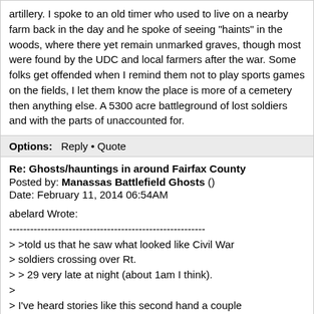artillery. I spoke to an old timer who used to live on a nearby farm back in the day and he spoke of seeing "haints" in the woods, where there yet remain unmarked graves, though most were found by the UDC and local farmers after the war. Some folks get offended when I remind them not to play sports games on the fields, I let them know the place is more of a cemetery then anything else. A 5300 acre battleground of lost soldiers and with the parts of unaccounted for.
Options: Reply • Quote
Re: Ghosts/hauntings in around Fairfax County
Posted by: Manassas Battlefield Ghosts ()
Date: February 11, 2014 06:54AM
abelard Wrote:
--------------------------------------------------------
> >told us that he saw what looked like Civil War
> soldiers crossing over Rt.
> > 29 very late at night (about 1am I think).
>
> I've heard stories like this second hand a couple
> of times, especially from the area around the
> stone bridge - not sure what to make of them.
> It's possible that human suffering 'leaves an
> imprint' of some sort (oh so goes the theory) but
> I'd expect other places to absolutely glow with
> ghosts. I'm been to Dachau and Passchendaele, and
> as far as I know, neither is famous for ghosts.
> This even though you can fairly well feel the
> horror radiating from these places.
When we were there last, I got the feeling that I was just on the "other side of